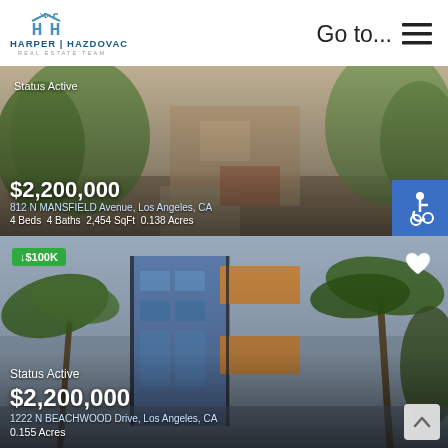[Figure (logo): Harper Hazdovac Real Estate Team logo — two H letters under a house/roof outline in blue, with company name below]
Go to...  ☰
[Figure (photo): Listing card 1: outdoor photo showing greenery and house exterior. Status Active, $2,200,000, 812 N MANSFIELD Avenue, Los Angeles, CA, 4 Beds  4 Baths  2,454 SqFt  0.138 Acres]
[Figure (photo): Listing card 2: modern multi-story building with blue glass and wood panel accents, palm trees. Price drop badge ↓$100K. Status Active, $2,200,000, 1222 N BEACHWOOD Drive, Los Angeles, CA, 0.155 Acres]